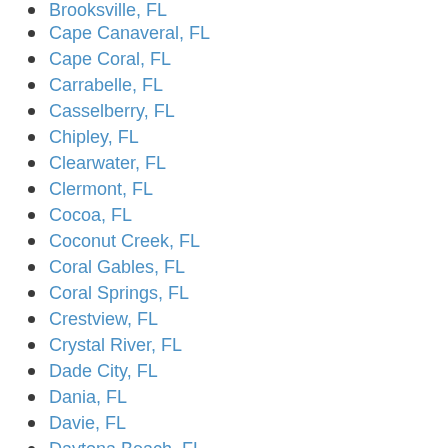Brooksville, FL
Cape Canaveral, FL
Cape Coral, FL
Carrabelle, FL
Casselberry, FL
Chipley, FL
Clearwater, FL
Clermont, FL
Cocoa, FL
Coconut Creek, FL
Coral Gables, FL
Coral Springs, FL
Crestview, FL
Crystal River, FL
Dade City, FL
Dania, FL
Davie, FL
Daytona Beach, FL